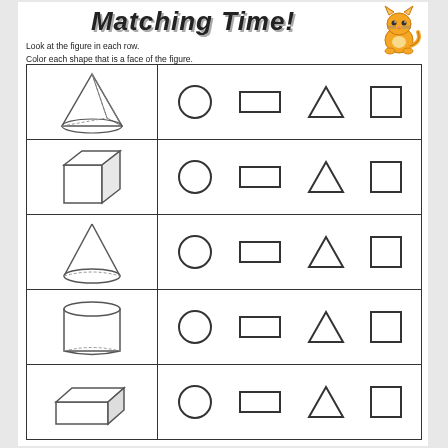Matching Time!
Look at the figure in each row.
Color each shape that is a face of the figure.
[Figure (illustration): Worksheet with 5 rows. Each row has a 3D figure on the left and 4 shapes (circle, rectangle, triangle, square) on the right to match as faces. Row 1: pyramid. Row 2: cube. Row 3: cone. Row 4: cylinder. Row 5: rectangular prism.]
[Figure (illustration): Cartoon cat mascot in top right corner]